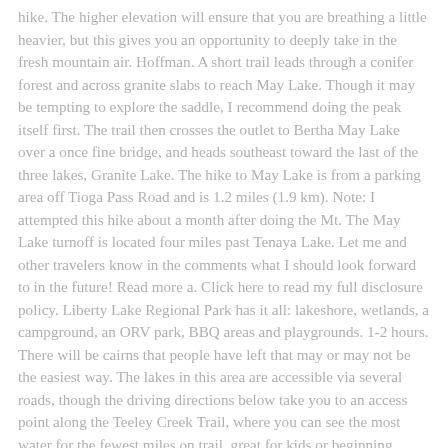hike. The higher elevation will ensure that you are breathing a little heavier, but this gives you an opportunity to deeply take in the fresh mountain air. Hoffman. A short trail leads through a conifer forest and across granite slabs to reach May Lake. Though it may be tempting to explore the saddle, I recommend doing the peak itself first. The trail then crosses the outlet to Bertha May Lake over a once fine bridge, and heads southeast toward the last of the three lakes, Granite Lake. The hike to May Lake is from a parking area off Tioga Pass Road and is 1.2 miles (1.9 km). Note: I attempted this hike about a month after doing the Mt. The May Lake turnoff is located four miles past Tenaya Lake. Let me and other travelers know in the comments what I should look forward to in the future! Read more a. Click here to read my full disclosure policy. Liberty Lake Regional Park has it all: lakeshore, wetlands, a campground, an ORV park, BBQ areas and playgrounds. 1-2 hours. There will be cairns that people have left that may or may not be the easiest way. The lakes in this area are accessible via several roads, though the driving directions below take you to an access point along the Teeley Creek Trail, where you can see the most water for the fewest miles on trail, great for kids or beginning hikers. The temporary Hanging Lake trail management plan can accommodate a maximum of 240 people per day spaced out in eight hiking groups/time slots. This entry was posted in Things To Do, Travel and